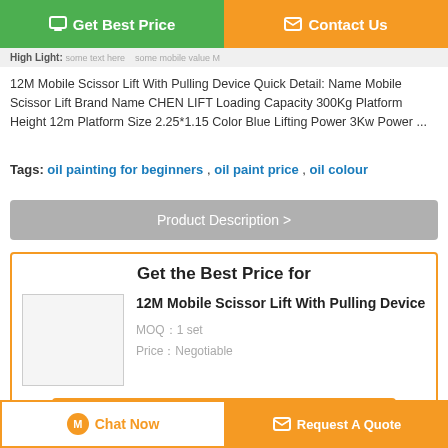[Figure (other): Get Best Price button (green) and Contact Us button (orange) at top]
High Light:
12M Mobile Scissor Lift With Pulling Device Quick Detail: Name Mobile Scissor Lift Brand Name CHEN LIFT Loading Capacity 300Kg Platform Height 12m Platform Size 2.25*1.15 Color Blue Lifting Power 3Kw Power ...
Tags: oil painting for beginners , oil paint price , oil colour
Product Description >
Get the Best Price for
12M Mobile Scissor Lift With Pulling Device
MOQ：1 set
Price：Negotiable
Continue
Chat Now
Request A Quote